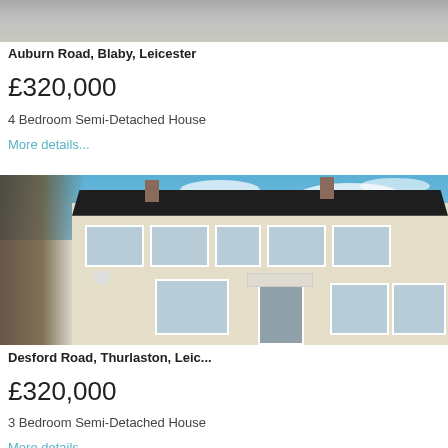[Figure (photo): Top portion of a property photo showing driveway/road surface, partially cropped]
Auburn Road, Blaby, Leicester
£320,000
4 Bedroom Semi-Detached House
More details...
[Figure (photo): Exterior photo of a two-storey semi-detached house with cream/white render, multiple windows, front door with porch canopy, garage/shed visible on left, blue sky background]
Desford Road, Thurlaston, Leic...
£320,000
3 Bedroom Semi-Detached House
More details...